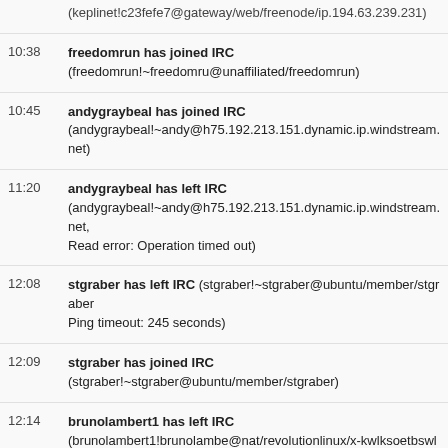(keplinet!c23fefe7@gateway/web/freenode/ip.194.63.239.231)
10:38 freedomrun has joined IRC (freedomrun!~freedomru@unaffiliated/freedomrun)
10:45 andygraybeal has joined IRC (andygraybeal!~andy@h75.192.213.151.dynamic.ip.windstream.net)
11:20 andygraybeal has left IRC (andygraybeal!~andy@h75.192.213.151.dynamic.ip.windstream.net, Read error: Operation timed out)
12:08 stgraber has left IRC (stgraber!~stgraber@ubuntu/member/stgraber Ping timeout: 245 seconds)
12:09 stgraber has joined IRC (stgraber!~stgraber@ubuntu/member/stgraber)
12:14 brunolambert1 has left IRC (brunolambert1!brunolambe@nat/revolutionlinux/x-kwlksoetbswlveol, Quit: Leaving.)
12:15 brunolambert has joined IRC (brunolambert!brunolambe@nat/revolutionlinux/x-uwpzjhcaqwlujrls)